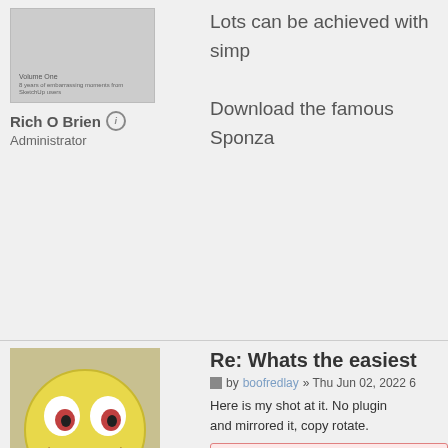[Figure (illustration): Book cover thumbnail for 'Volume One - 8 years of embarrassing moments from SketchUp users']
Rich O Brien
Administrator
Lots can be achieved with simp...
Download the famous Sponza...
[Figure (illustration): Yellow smiley face emoji avatar with googly eyes, used as the profile picture for boofredlay]
boofredlay
Global Moderator
Re: Whats the easiest...
by boofredlay » Thu Jun 02, 2022 6...
Here is my shot at it. No plugin... and mirrored it, copy rotate.
➡ You need to be a M...
http://www.coroflot.com/b...
[Figure (illustration): Globe icon with cursor/link symbol]